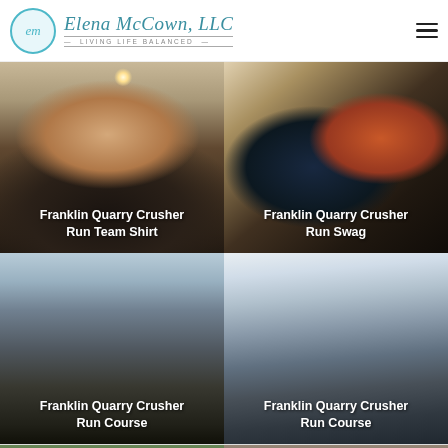Elena McCown, LLC — Living Life Balanced
[Figure (photo): Woman holding up a dark Franklin Quarry Crusher Run team shirt, smiling at camera in an indoor setting]
Franklin Quarry Crusher Run Team Shirt
[Figure (photo): Flat lay of race swag including Rocking Franklin shirt, sunglasses, bib number 252, and other items]
Franklin Quarry Crusher Run Swag
[Figure (photo): Aerial view of Franklin quarry course showing rocky terrain and paths]
Franklin Quarry Crusher Run Course
[Figure (photo): Winter/snowy aerial view of Franklin quarry crusher run course]
Franklin Quarry Crusher Run Course